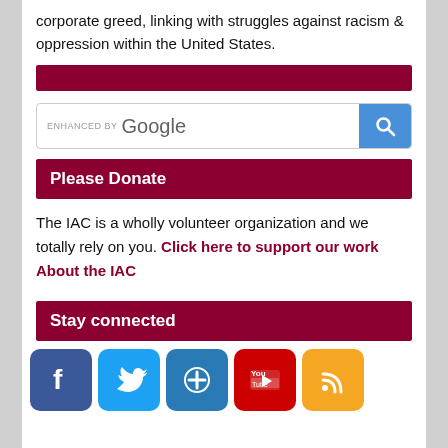corporate greed, linking with struggles against racism & oppression within the United States.
[Figure (other): Dark red horizontal divider bar]
[Figure (screenshot): ENHANCED BY Google search bar with blue search button icon]
Please Donate
The IAC is a wholly volunteer organization and we totally rely on you. Click here to support our work  About the IAC
Stay connected
[Figure (other): Social media icons: Facebook (blue), Twitter (light blue), AddThis (blue with plus), YouTube (red), RSS (orange)]